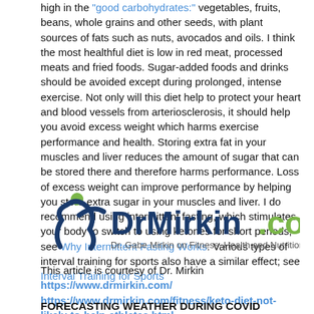high in the "good carbohydrates:" vegetables, fruits, beans, whole grains and other seeds, with plant sources of fats such as nuts, avocados and oils. I think the most healthful diet is low in red meat, processed meats and fried foods. Sugar-added foods and drinks should be avoided except during prolonged, intense exercise. Not only will this diet help to protect your heart and blood vessels from arteriosclerosis, it should help you avoid excess weight which harms exercise performance and health. Storing extra fat in your muscles and liver reduces the amount of sugar that can be stored there and therefore harms performance. Loss of excess weight can improve performance by helping you store extra sugar in your muscles and liver. I do recommend using intermittent fasting, which stimulates your body to switch to using ketones for short periods; see Why Intermittent Fasting Works. Various types of interval training for sports also have a similar effect; see Interval Training for Sports
[Figure (logo): DrMirkin.com logo with figure icon and tagline: Dr. Gabe Mirkin on Fitness, Health and Nutrition]
This article is courtesy of Dr. Mirkin
https://www.drmirkin.com/
https://www.drmirkin.com/fitness/keto-diet-not-likely-to-help-athletes.html
FORECASTING WEATHER DURING COVID